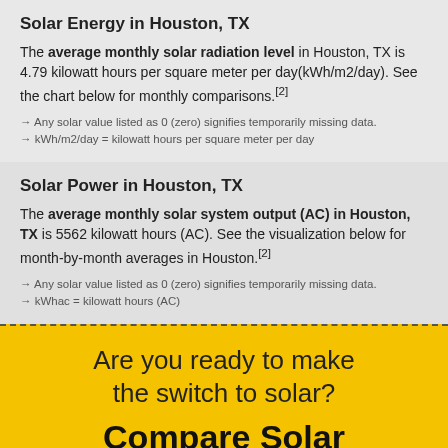Solar Energy in Houston, TX
The average monthly solar radiation level in Houston, TX is 4.79 kilowatt hours per square meter per day(kWh/m2/day). See the chart below for monthly comparisons.[2]
→ Any solar value listed as 0 (zero) signifies temporarily missing data.
→ kWh/m2/day = kilowatt hours per square meter per day
Solar Power in Houston, TX
The average monthly solar system output (AC) in Houston, TX is 5562 kilowatt hours (AC). See the visualization below for month-by-month averages in Houston.[2]
→ Any solar value listed as 0 (zero) signifies temporarily missing data.
→ kWhac = kilowatt hours (AC)
Are you ready to make the switch to solar?
Compare Solar